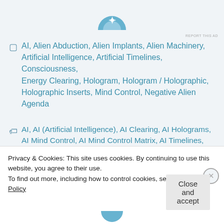[Figure (logo): Partial blue circular logo/icon at the top center]
REPORT THIS AD
AI, Alien Abduction, Alien Implants, Alien Machinery, Artificial Intelligence, Artificial Timelines, Consciousness, Energy Clearing, Hologram, Hologram / Holographic, Holographic Inserts, Mind Control, Negative Alien Agenda
AI, AI (Artificial Intelligence), AI Clearing, AI Holograms, AI Mind Control, AI Mind Control Matrix, AI Timelines, Alien Hybrid Clones, Alien Implants, Alien Machinery, Alpha Draconis, Alpha Draconis/Orion Group Agenda, Anti-Christ, Anti-Christ Agenda, Anti-Christ Forces, Anti-Krystic, Anti-
Privacy & Cookies: This site uses cookies. By continuing to use this website, you agree to their use.
To find out more, including how to control cookies, see here: Cookie Policy